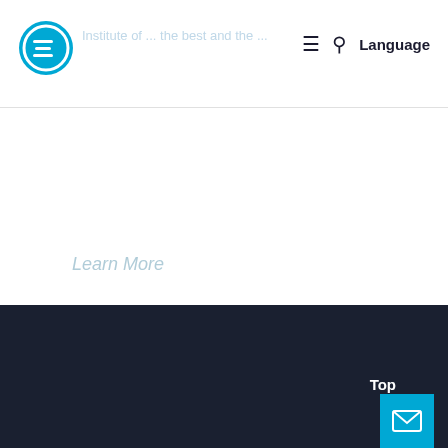Learn More | Language
Learn More
Top